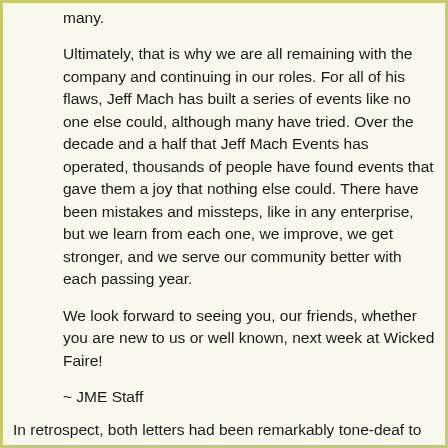many.
Ultimately, that is why we are all remaining with the company and continuing in our roles. For all of his flaws, Jeff Mach has built a series of events like no one else could, although many have tried. Over the decade and a half that Jeff Mach Events has operated, thousands of people have found events that gave them a joy that nothing else could. There have been mistakes and missteps, like in any enterprise, but we learn from each one, we improve, we get stronger, and we serve our community better with each passing year.
We look forward to seeing you, our friends, whether you are new to us or well known, next week at Wicked Faire!
~ JME Staff
In retrospect, both letters had been remarkably tone-deaf to